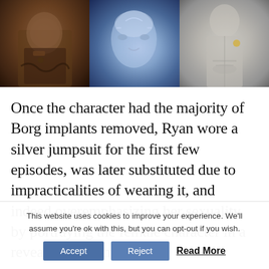[Figure (photo): Three panel image collage: left panel shows a dark-toned figure in armor/Borg costume with brown tones; center panel shows a blonde female face with blue lighting and implants; right panel shows a silver/gray figure in a silver jumpsuit with a Starfleet badge.]
Once the character had the majority of Borg implants removed, Ryan wore a silver jumpsuit for the first few episodes, was later substituted due to impracticalities of wearing it, and indeed overemphasizing her sexuality, by portraying the female character in a revealing costume.
This website uses cookies to improve your experience. We'll assume you're ok with this, but you can opt-out if you wish. Accept Reject Read More